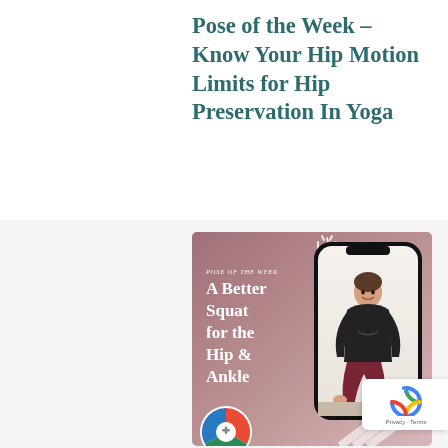Pose of the Week – Know Your Hip Motion Limits for Hip Preservation In Yoga
[Figure (photo): Promotional image with mauve/dusty rose background showing a phone frame containing a woman in a squat yoga pose, with text overlay reading 'Pose of the Week – A Better Squat for the Hip & Ankle', sparkle doodles, diagonal white stripes, and a circular logo at bottom]